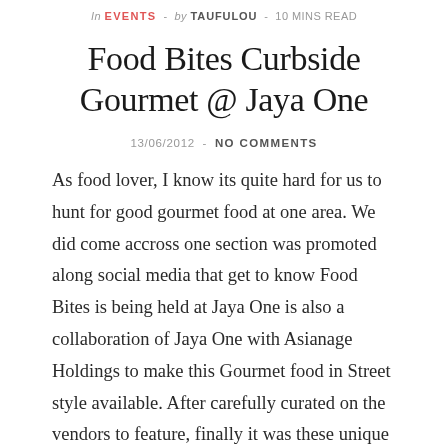In EVENTS - by TAUFULOU - 10 MINS READ
Food Bites Curbside Gourmet @ Jaya One
13/06/2012  -  NO COMMENTS
As food lover, I know its quite hard for us to hunt for good gourmet food at one area. We did come accross one section was promoted along social media that get to know Food Bites is being held at Jaya One is also a collaboration of Jaya One with Asianage Holdings to make this Gourmet food in Street style available. After carefully curated on the vendors to feature, finally it was these unique 9 vendors that got the opportunity to be feature in this section as Food Bites is also part of Jaya One Weekend  Market that happens every quarter for year